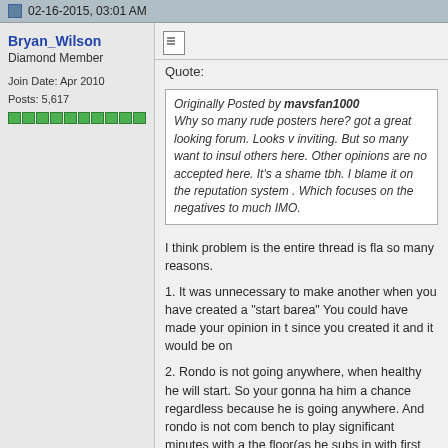02-16-2015, 03:01 AM
Bryan_Wilson
Diamond Member
Join Date: Apr 2010
Posts: 5,617
Quote:
Originally Posted by mavsfan1000
Why so many rude posters here? got a great looking forum. Looks very inviting. But so many want to insult others here. Other opinions are not accepted here. It's a shame tbh. I blame it on the reputation system... Which focuses on the negatives too much IMO.
I think problem is the entire thread is fla so many reasons.

1. It was unnecessary to make another when you have created a "start barea" You could have made your opinion in t since you created it and it would be on

2. Rondo is not going anywhere, when healthy he will start. So your gonna ha him a chance regardless because he is going anywhere. And rondo is not com bench to play significant minutes with a the floor(as he subs in with first rotatio